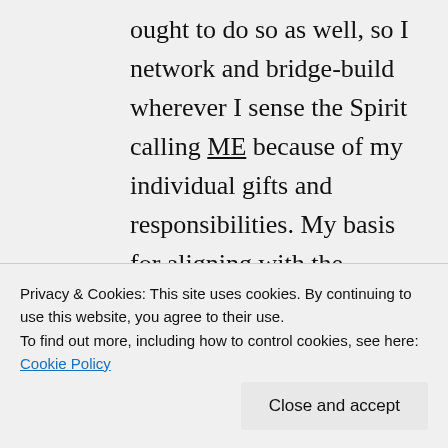ought to do so as well, so I network and bridge-build wherever I sense the Spirit calling ME because of my individual gifts and responsibilities. My basis for aligning with the CofChrist, when I do so, is entirely done on that basis of calling and resource optimization. Sometimes I even find myself feeling called to oppose, in the pursuit of peace and justice, some actions that church
Privacy & Cookies: This site uses cookies. By continuing to use this website, you agree to their use.
To find out more, including how to control cookies, see here: Cookie Policy